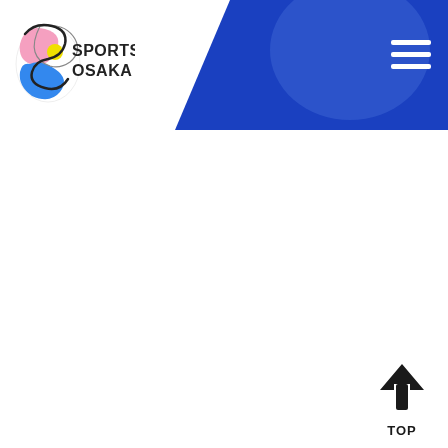[Figure (logo): Sports Osaka logo with colorful S-shaped figure and text SPORTS OSAKA]
[Figure (illustration): Blue geometric header banner with diagonal shapes in navy and medium blue]
[Figure (other): Hamburger menu icon (three white horizontal lines) on blue background top right]
[Figure (other): Back-to-top arrow button with upward arrow and TOP label at bottom right]